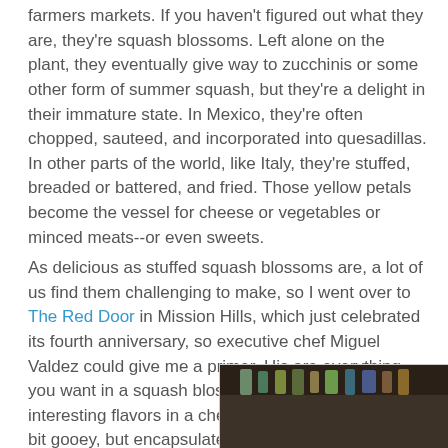farmers markets. If you haven't figured out what they are, they're squash blossoms. Left alone on the plant, they eventually give way to zucchinis or some other form of summer squash, but they're a delight in their immature state. In Mexico, they're often chopped, sauteed, and incorporated into quesadillas. In other parts of the world, like Italy, they're stuffed, breaded or battered, and fried. Those yellow petals become the vessel for cheese or vegetables or minced meats--or even sweets.
As delicious as stuffed squash blossoms are, a lot of us find them challenging to make, so I went over to The Red Door in Mission Hills, which just celebrated its fourth anniversary, so executive chef Miguel Valdez could give me a primer. His are everything you want in a squash blossom--packed with interesting flavors in a cheese stuffing that is just a bit gooey, but encapsulated in a crunchy floral container.
[Figure (photo): Photo of a man (executive chef Miguel Valdez) wearing glasses, with shelves of bottles visible in the background]